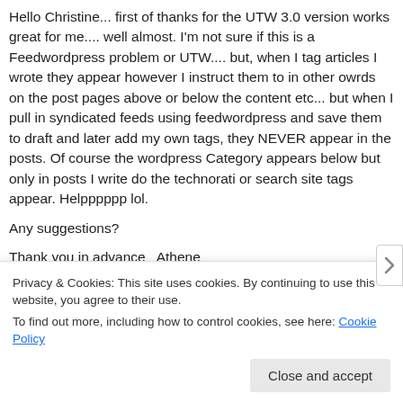Hello Christine... first of thanks for the UTW 3.0 version works great for me.... well almost. I'm not sure if this is a Feedwordpress problem or UTW.... but, when I tag articles I wrote they appear however I instruct them to in other owrds on the post pages above or below the content etc... but when I pull in syndicated feeds using feedwordpress and save them to draft and later add my own tags, they NEVER appear in the posts. Of course the wordpress Category appears below but only in posts I write do the technorati or search site tags appear. Helpppppp lol.

Any suggestions?

Thank you in advance   Athene
Privacy & Cookies: This site uses cookies. By continuing to use this website, you agree to their use.
To find out more, including how to control cookies, see here: Cookie Policy